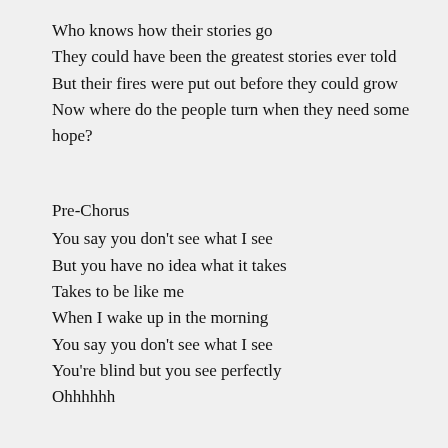Who knows how their stories go
They could have been the greatest stories ever told
But their fires were put out before they could grow
Now where do the people turn when they need some hope?
Pre-Chorus
You say you don't see what I see
But you have no idea what it takes
Takes to be like me
When I wake up in the morning
You say you don't see what I see
You're blind but you see perfectly
Ohhhhhh